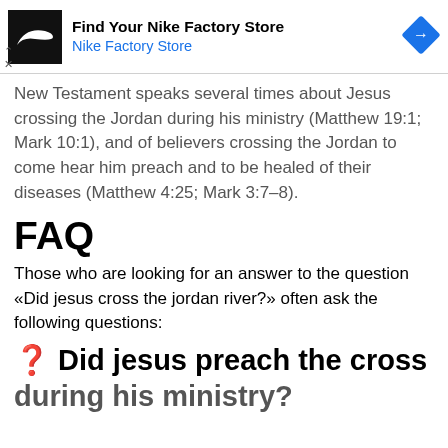[Figure (other): Nike Factory Store advertisement banner with Nike swoosh logo, text 'Find Your Nike Factory Store' and 'Nike Factory Store' in blue, and a blue diamond navigation icon on the right.]
New Testament speaks several times about Jesus crossing the Jordan during his ministry (Matthew 19:1; Mark 10:1), and of believers crossing the Jordan to come hear him preach and to be healed of their diseases (Matthew 4:25; Mark 3:7–8).
FAQ
Those who are looking for an answer to the question «Did jesus cross the jordan river?» often ask the following questions:
❓ Did jesus preach the cross during his ministry?